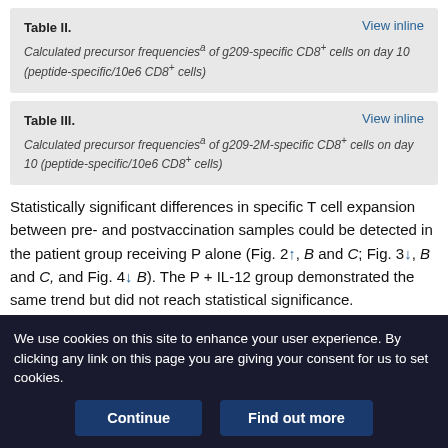Table II. Calculated precursor frequenciesᵃ of g209-specific CD8⁺ cells on day 10 (peptide-specific/10e6 CD8⁺ cells)
Table III. Calculated precursor frequenciesᵃ of g209-2M-specific CD8⁺ cells on day 10 (peptide-specific/10e6 CD8⁺ cells)
Statistically significant differences in specific T cell expansion between pre- and postvaccination samples could be detected in the patient group receiving P alone (Fig. 2↑, B and C; Fig. 3↓, B and C, and Fig. 4↓ B). The P + IL-12 group demonstrated the same trend but did not reach statistical significance.
Measurement of vaccine-specific T cell expansion in patients
We use cookies on this site to enhance your user experience. By clicking any link on this page you are giving your consent for us to set cookies.